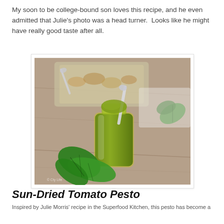My soon to be college-bound son loves this recipe, and he even admitted that Julie's photo was a head turner.  Looks like he might have really good taste after all.
[Figure (photo): A glass jar filled with green pesto sauce with a spoon in it, fresh basil leaves in the foreground, and a glass dish of ingredients in the background, all on a wooden surface. Watermark: 'e Cty Life']
Sun-Dried Tomato Pesto
Inspired by Julie Morris' recipe in the Superfood Kitchen, this pesto has become a